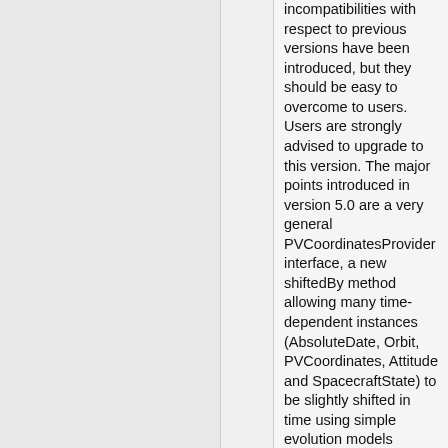incompatibilities with respect to previous versions have been introduced, but they should be easy to overcome to users. Users are strongly advised to upgrade to this version. The major points introduced in version 5.0 are a very general PVCoordinatesProvider interface, a new shiftedBy method allowing many time-dependent instances (AbsoluteDate, Orbit, PVCoordinates, Attitude and SpacecraftState) to be slightly shifted in time using simple evolution models (keplerian for orbit, fixed angular rate for attitude, fixed translation for position/velocity), a redesign of the attitude interfaces and an